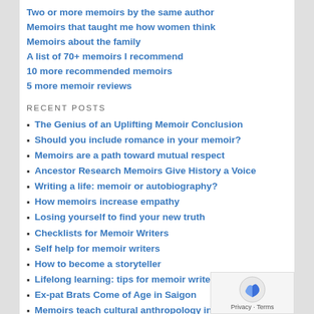Two or more memoirs by the same author
Memoirs that taught me how women think
Memoirs about the family
A list of 70+ memoirs I recommend
10 more recommended memoirs
5 more memoir reviews
RECENT POSTS
The Genius of an Uplifting Memoir Conclusion
Should you include romance in your memoir?
Memoirs are a path toward mutual respect
Ancestor Research Memoirs Give History a Voice
Writing a life: memoir or autobiography?
How memoirs increase empathy
Losing yourself to find your new truth
Checklists for Memoir Writers
Self help for memoir writers
How to become a storyteller
Lifelong learning: tips for memoir writers
Ex-pat Brats Come of Age in Saigon
Memoirs teach cultural anthropology in modernity